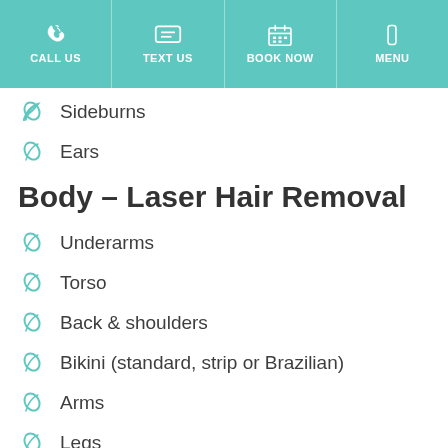CALL US | TEXT US | BOOK NOW | MENU
Sideburns
Ears
Body – Laser Hair Removal
Underarms
Torso
Back & shoulders
Bikini (standard, strip or Brazilian)
Arms
Legs